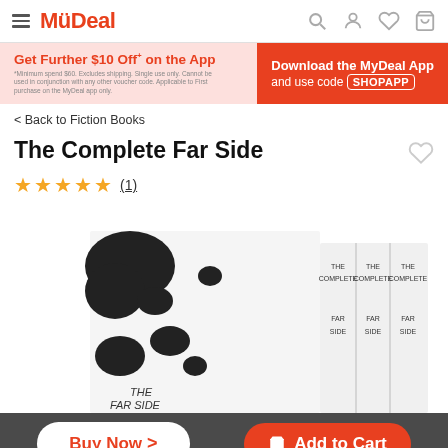MyDeal
[Figure (screenshot): MyDeal promotional banner: Get Further $10 Off+ on the App. Download the MyDeal App and use code SHOPAPP]
< Back to Fiction Books
The Complete Far Side
★★★★★ (1)
[Figure (photo): Product photo of The Complete Far Side book set in a black and white cow-patterned box with three volumes visible on the spine]
Buy Now >   Add to Cart